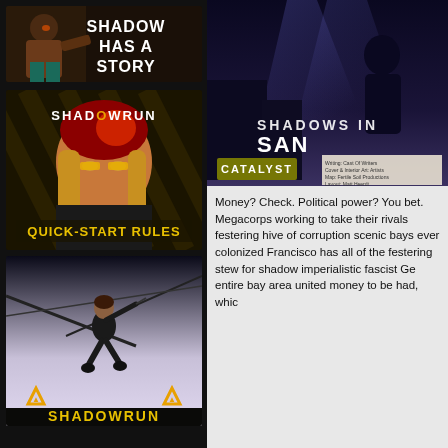[Figure (illustration): Shadowrun 'Shadow Has A Story' promotional image with a character in brown jacket and the bold white text 'SHADOW HAS A STORY' on dark background]
[Figure (illustration): Shadowrun Quick-Start Rules book cover showing a woman with red-streaked hair and yellow glasses, with 'SHADOWRUN' logo and 'QUICK-START RULES' text in gold]
[Figure (illustration): Shadowrun game art showing a woman in black outfit swinging on wires with triangle warning symbols and 'SHADOWRUN' text at bottom]
[Figure (illustration): Shadows in San Francisco book cover partially visible on right column top, with Catalyst logo and some text details visible]
Money? Check. Political power? You bet. Megacorps working to take their rivals festering hive of corruption scenic bays ever colonized Francisco has all of the festering stew for shadow imperialistic fascist Ge entire bay area united money to be had, whic